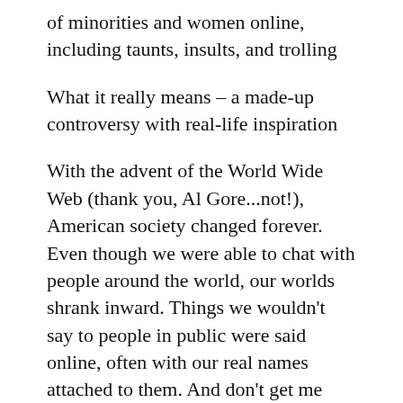of minorities and women online, including taunts, insults, and trolling
What it really means – a made-up controversy with real-life inspiration
With the advent of the World Wide Web (thank you, Al Gore...not!), American society changed forever. Even though we were able to chat with people around the world, our worlds shrank inward. Things we wouldn't say to people in public were said online, often with our real names attached to them. And don't get me started on Rule 34. If you don't know what that is, please don't ask. You really don't want to know.